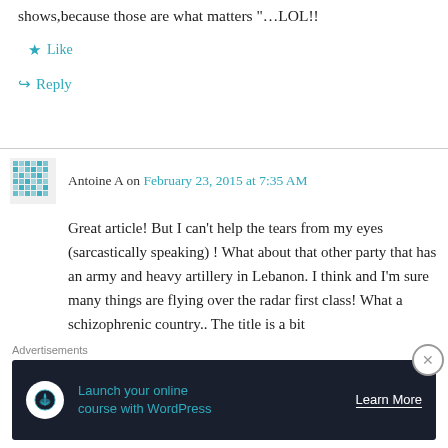shows,because those are what matters "…LOL!!
★ Like
↪ Reply
Antoine A on February 23, 2015 at 7:35 AM
Great article! But I can't help the tears from my eyes (sarcastically speaking) ! What about that other party that has an army and heavy artillery in Lebanon. I think and I'm sure many things are flying over the radar first class! What a schizophrenic country.. The title is a bit
Advertisements
[Figure (infographic): Advertisement banner: 'Launch your online course with WordPress' with Learn More button on dark navy background with tree/person icon]